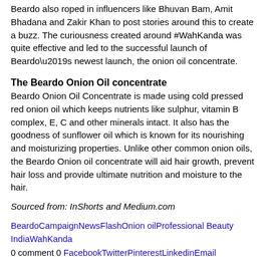Beardo also roped in influencers like Bhuvan Bam, Amit Bhadana and Zakir Khan to post stories around this to create a buzz. The curiousness created around #WahKanda was quite effective and led to the successful launch of Beardo’s newest launch, the onion oil concentrate.
The Beardo Onion Oil concentrate
Beardo Onion Oil Concentrate is made using cold pressed red onion oil which keeps nutrients like sulphur, vitamin B complex, E, C and other minerals intact. It also has the goodness of sunflower oil which is known for its nourishing and moisturizing properties. Unlike other common onion oils, the Beardo Onion oil concentrate will aid hair growth, prevent hair loss and provide ultimate nutrition and moisture to the hair.
Sourced from: InShorts and Medium.com
BeardoCampaignNewsFlashOnion oilProfessional Beauty IndiaWahKanda
0 comment 0 FacebookTwitterPinterestLinkedinEmail